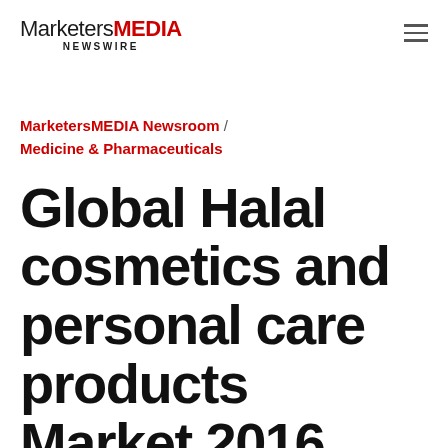MarketersMEDIA NEWSWIRE
MarketersMEDIA Newsroom / Medicine & Pharmaceuticals
Global Halal cosmetics and personal care products Market 2016